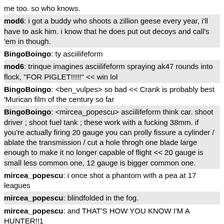me too. so who knows.
mod6: i got a buddy who shoots a zillion geese every year, i'll have to ask him. i know that he does put out decoys and call's 'em in though.
BingoBoingo: ty asciilifeform
mod6: trinque imagines asciilifeform spraying ak47 rounds into flock, "FOR PIGLET!!!!!" << win lol
BingoBoingo: <ben_vulpes> so bad << Crank is probably best 'Murican film of the century so far
BingoBoingo: <mircea_popescu> asciilifeform think car. shoot driver ; shoot fuel tank ; these work with a fucking 38mm. if you're actually firing 20 gauge you can prolly fissure a cylinder / ablate the transmission / cut a hole throgh one blade large enough to make it no longer capable of flight << 20 gauge is small less common one, 12 gauge is bigger common one.
mircea_popescu: i once shot a phantom with a pea at 17 leagues
mircea_popescu: blindfolded in the fog.
mircea_popescu: and THAT'S HOW YOU KNOW I'M A HUNTER!!1
BingoBoingo: In europe bird hunters hit at extreme range because they use 1, 2, or 4 gauge "punt guns", US maxes out at 10 and 12 gauge for the reason that ducks respond to bigger guns by just flying higher and then arms race
BingoBoingo once shot down a fly with my pee
mircea_popescu: BingoBoingo i suspect the thing is, us duck /